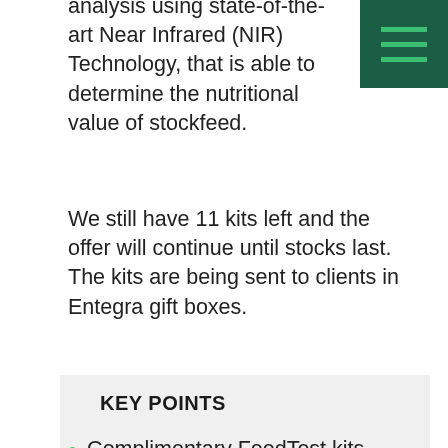analysis using state-of-the-art Near Infrared (NIR) Technology, that is able to determine the nutritional value of stockfeed.
We still have 11 kits left and the offer will continue until stocks last. The kits are being sent to clients in Entegra gift boxes.
KEY POINTS
Complimentary FeedTest kits being offered with every purchase of an Entegra hay shed
The kits are being sent out in the